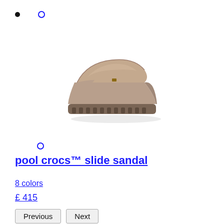[Figure (photo): A tan/beige platform mule clog sandal (pool crocs slide sandal) shown from the side against a white background, with chunky ridged sole.]
pool crocs™ slide sandal
8 colors
£ 415
Previous  Next